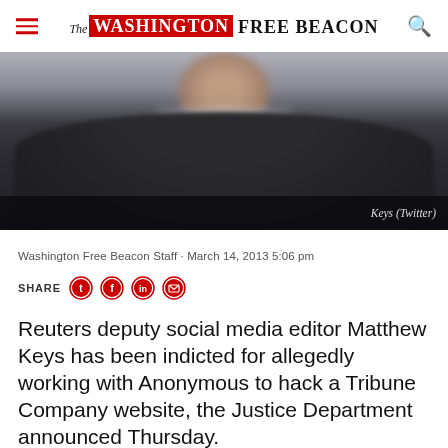The Washington Free Beacon
[Figure (photo): Blurred photo of a person wearing a dark jacket, credit: Keys (Twitter)]
Keys (Twitter)
Washington Free Beacon Staff · March 14, 2013 5:06 pm
SHARE
Reuters deputy social media editor Matthew Keys has been indicted for allegedly working with Anonymous to hack a Tribune Company website, the Justice Department announced Thursday.